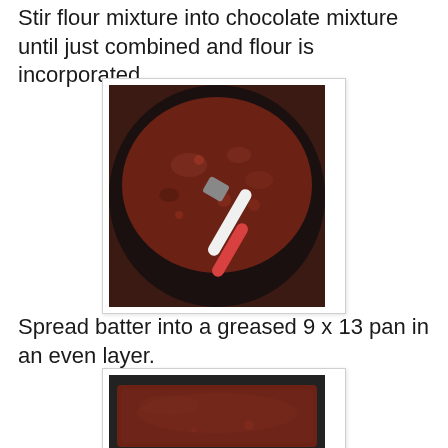Stir flour mixture into chocolate mixture until just combined and flour is incorporated.
[Figure (photo): Dark reddish-brown brownie batter in a black mixing bowl being stirred with a red and white spatula]
Spread batter into a greased 9 x 13 pan in an even layer.
[Figure (photo): Dark reddish-brown brownie batter spread evenly into a dark metal 9x13 baking pan]